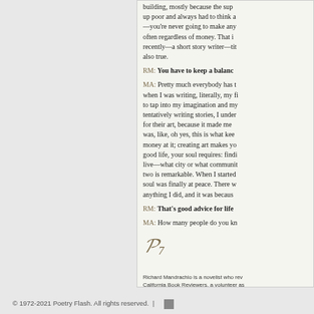building, mostly because the sup- up poor and always had to think a —you're never going to make any often regardless of money. That i recently—a short story writer—tit also true.
RM: You have to keep a balanc
MA: Pretty much everybody has t when I was writing, literally, my fi to tap into my imagination and my tentatively writing stories, I under for their art, because it made me was, like, oh yes, this is what kee money at it; creating art makes yo good life, your soul requires: findi live—what city or what communit two is remarkable. When I started soul was finally at peace. There w anything I did, and it was becaus
RM: That's good advice for life
MA: How many people do you kn
[Figure (logo): Poetry Flash stylized logo/signature in italic script]
Richard Mandrachio is a novelist who rev California Book Reviewers, a volunteer as present the Northern California Book Awa
© 1972-2021 Poetry Flash. All rights reserved.